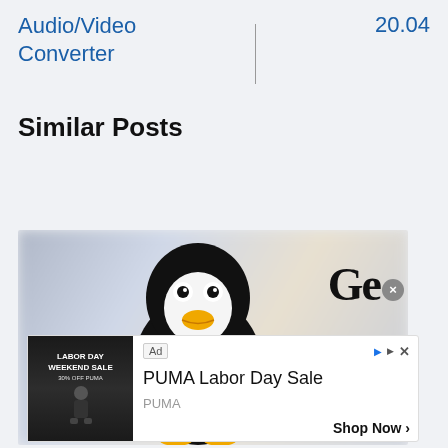Audio/Video Converter
20.04
Similar Posts
[Figure (photo): A Linux Tux penguin mascot overlaid on a blurred background with people, partially overlaid by a Ge logo and close button on the right side.]
[Figure (other): PUMA Labor Day Sale advertisement with image of person outdoors, PUMA brand label, and Shop Now button.]